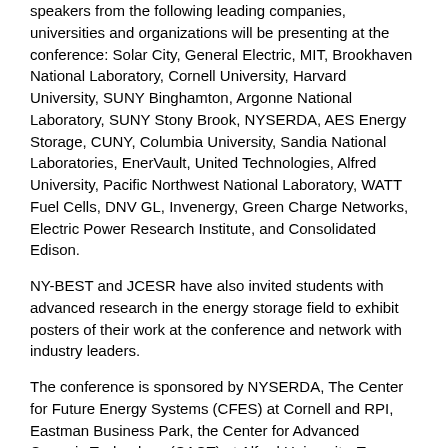speakers from the following leading companies, universities and organizations will be presenting at the conference: Solar City, General Electric, MIT, Brookhaven National Laboratory, Cornell University, Harvard University, SUNY Binghamton, Argonne National Laboratory, SUNY Stony Brook, NYSERDA, AES Energy Storage, CUNY, Columbia University, Sandia National Laboratories, EnerVault, United Technologies, Alfred University, Pacific Northwest National Laboratory, WATT Fuel Cells, DNV GL, Invenergy, Green Charge Networks, Electric Power Research Institute, and Consolidated Edison.
NY-BEST and JCESR have also invited students with advanced research in the energy storage field to exhibit posters of their work at the conference and network with industry leaders.
The conference is sponsored by NYSERDA, The Center for Future Energy Systems (CFES) at Cornell and RPI, Eastman Business Park, the Center for Advanced Ceramic Technology (CACT) at Alfred University. To register for the conference or view the agenda, please visit the NY-BEST website at www.ny-best.org.
About NY-BEST